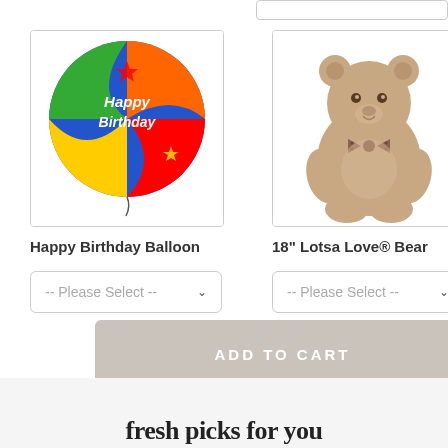[Figure (photo): Happy Birthday balloon — colorful round mylar balloon with 'Happy Birthday' text and stars]
Happy Birthday Balloon
[Figure (photo): 18 inch Lotsa Love bear — tan teddy bear with bow tie sitting upright]
18" Lotsa Love® Bear
-- Please Select --
-- Please Select --
ADD TO CART
[Figure (logo): TrustedSite Certified Secure badge with green checkmark]
fresh picks for you